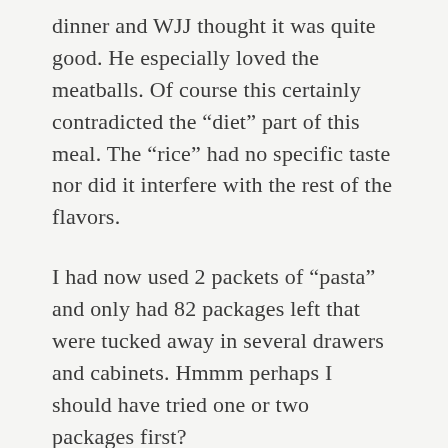dinner and WJJ thought it was quite good. He especially loved the meatballs. Of course this certainly contradicted the “diet” part of this meal. The “rice” had no specific taste nor did it interfere with the rest of the flavors.
I had now used 2 packets of “pasta” and only had 82 packages left that were tucked away in several drawers and cabinets. Hmmm perhaps I should have tried one or two packages first?
As I was pondering my “error”, my bread arrived. I was over the top with excitement. Certainly it had to be better than the pasta. I took one loaf out and immediately put the other 5 loaves in the freezer.
The first indication that this might not be what I